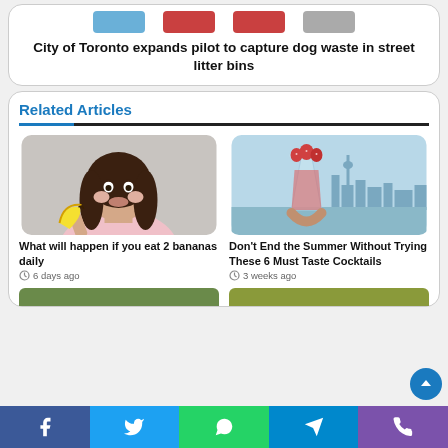City of Toronto expands pilot to capture dog waste in street litter bins
Related Articles
What will happen if you eat 2 bananas daily
6 days ago
Don't End the Summer Without Trying These 6 Must Taste Cocktails
3 weeks ago
[Figure (photo): Girl holding banana with pouty expression]
[Figure (photo): Hand holding cocktail glass with fruit, city skyline in background]